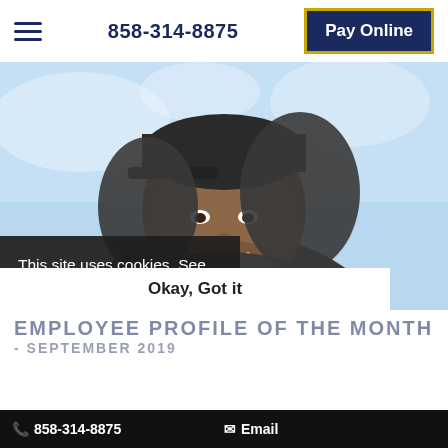858-314-8875  Pay Online
[Figure (photo): Portrait photo of a young man wearing a dark grey hoodie and dark cap, smiling, with a light blue sky background. A cookie consent banner overlays the lower portion of the photo.]
This site uses cookies. See our Privacy Policy to learn more.
Okay, Got it
EMPLOYEE PROFILE OF THE MONTH
- SEPTEMBER 2019
858-314-8875  Email